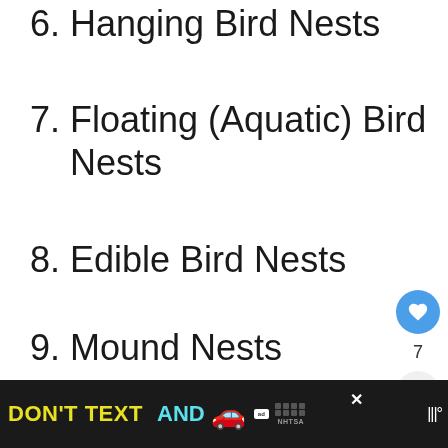6. Hanging Bird Nests
7. Floating (Aquatic) Bird Nests
8. Edible Bird Nests
9. Mound Nests
10. Holes in the Ground
11. Birds That Build Mud Nests
[Figure (screenshot): What's Next sidebar with Bird Nest Identification thumbnail]
[Figure (screenshot): Ad banner: DON'T TEXT AND [car emoji] with NHTSA logo]